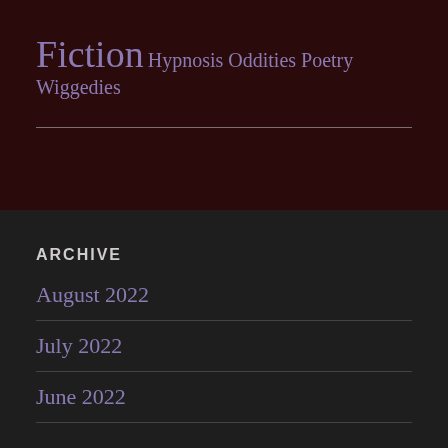Fiction Hypnosis Oddities Poetry Wiggedies
ARCHIVE
August 2022
July 2022
June 2022